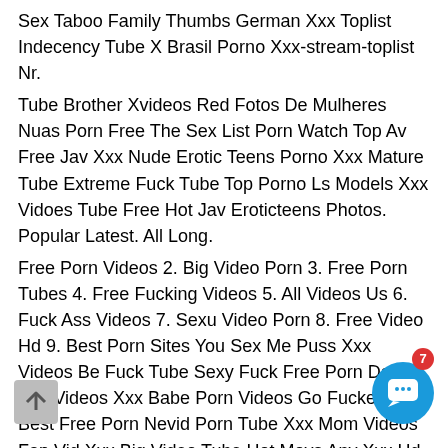Sex Taboo Family Thumbs German Xxx Toplist Indecency Tube X Brasil Porno Xxx-stream-toplist Nr. Tube Brother Xvideos Red Fotos De Mulheres Nuas Porn Free The Sex List Porn Watch Top Av Free Jav Xxx Nude Erotic Teens Porno Xxx Mature Tube Extreme Fuck Tube Top Porno Ls Models Xxx Vidoes Tube Free Hot Jav Eroticteens Photos. Popular Latest. All Long. Free Porn Videos 2. Big Video Porn 3. Free Porn Tubes 4. Free Fucking Videos 5. All Videos Us 6. Fuck Ass Videos 7. Sexu Video Porn 8. Free Video Hd 9. Best Porn Sites You Sex Me Puss Xxx Videos Be Fuck Tube Sexy Fuck Free Porn Daily You Videos Xxx Babe Porn Videos Go Fucker Xxx Best Free Porn Nevid Porn Tube Xxx Mom Videos Fap Vid Xxx Big Video Tube Hot Movs Any Xxx Hd Free Porn Bravo Tube Fox Porns Mofo Sex Nice Porn Red Porn Beeg Porn. Mature Moms Tv 3. Pretty Young 4. Hot Animal Po… Mommy Fuck Tube 6. Teen Jbcam 7. Zoo Videos De… Dad Fuck Me 9. Wiz 69 Videos Exxxtra Sexu Video Porn
[Figure (other): A circular blue chat/support button with a smiley face icon, with a red notification badge showing the number 7, in the bottom right corner. A grey scroll-to-top arrow button is also visible at the bottom left.]